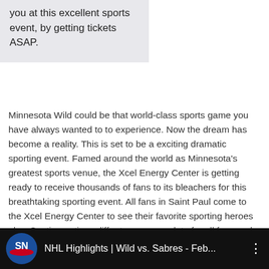you at this excellent sports event, by getting tickets ASAP.
Minnesota Wild could be that world-class sports game you have always wanted to to experience. Now the dream has become a reality. This is set to be a exciting dramatic sporting event. Famed around the world as Minnesota's greatest sports venue, the Xcel Energy Center is getting ready to receive thousands of fans to its bleachers for this breathtaking sporting event. All fans in Saint Paul come to the Xcel Energy Center to see their favorite sporting heroes play. Seating options differ to accommodate for all fans and all budgets. If you aren't a season-pass holder, pick up your individual – Minnesota Wild tickets – ASAP.
[Figure (screenshot): Sportsnet YouTube video thumbnail bar showing 'NHL Highlights | Wild vs. Sabres - Feb...' with SN logo on black background]